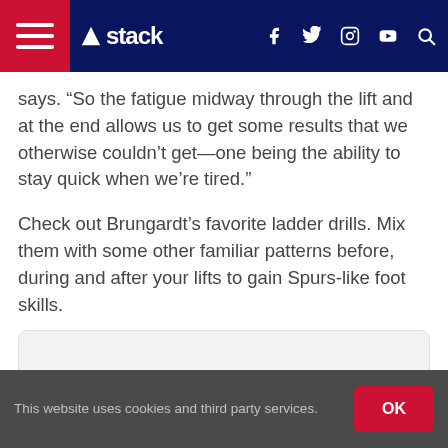stack
says. “So the fatigue midway through the lift and at the end allows us to get some results that we otherwise couldn’t get—one being the ability to stay quick when we’re tired.”
Check out Brungardt’s favorite ladder drills. Mix them with some other familiar patterns before, during and after your lifts to gain Spurs-like foot skills.
[Figure (other): Advertisement placeholder box with light gray background]
This website uses cookies and third party services.